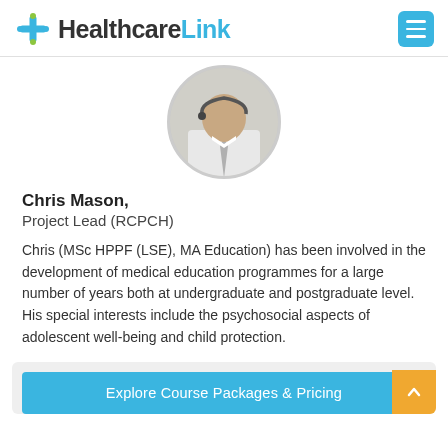HealthcareLink
[Figure (photo): Circular cropped photo of Chris Mason, a man in a white shirt and grey tie, headset partially visible]
Chris Mason,
Project Lead (RCPCH)
Chris (MSc HPPF (LSE), MA Education) has been involved in the development of medical education programmes for a large number of years both at undergraduate and postgraduate level. His special interests include the psychosocial aspects of adolescent well-being and child protection.
Explore Course Packages & Pricing